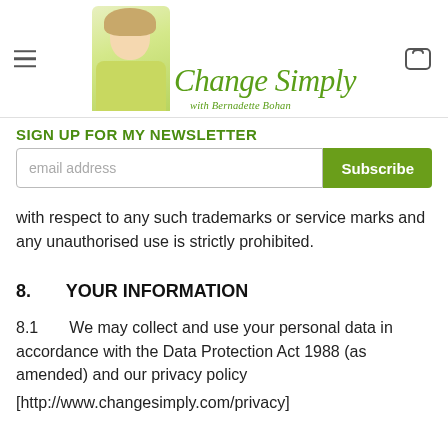Change Simply with Bernadette Bohan — navigation header with logo
SIGN UP FOR MY NEWSLETTER
email address [input field] Subscribe [button]
with respect to any such trademarks or service marks and any unauthorised use is strictly prohibited.
8. YOUR INFORMATION
8.1 We may collect and use your personal data in accordance with the Data Protection Act 1988 (as amended) and our privacy policy [http://www.changesimply.com/privacy]